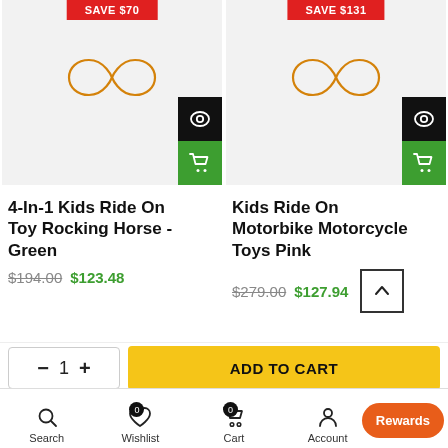[Figure (screenshot): Product card for 4-In-1 Kids Ride On Toy Rocking Horse - Green with SAVE $70 badge, orange infinity logo, quick view and add-to-cart buttons]
[Figure (screenshot): Product card for Kids Ride On Motorbike Motorcycle Toys Pink with SAVE $131 badge, orange infinity logo, quick view and add-to-cart buttons]
4-In-1 Kids Ride On Toy Rocking Horse - Green
$194.00 $123.48
Kids Ride On Motorbike Motorcycle Toys Pink
$279.00 $127.94
- 1 + ADD TO CART
Search  Wishlist  Cart  Account  Shop  Rewards